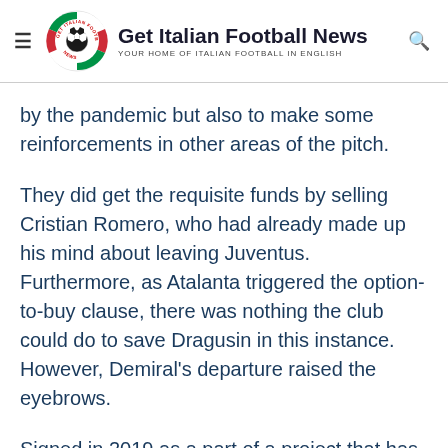Get Italian Football News — YOUR HOME OF ITALIAN FOOTBALL IN ENGLISH
by the pandemic but also to make some reinforcements in other areas of the pitch.
They did get the requisite funds by selling Cristian Romero, who had already made up his mind about leaving Juventus. Furthermore, as Atalanta triggered the option-to-buy clause, there was nothing the club could do to save Dragusin in this instance. However, Demiral's departure raised the eyebrows.
Signed in 2019 as a part of a project that has had